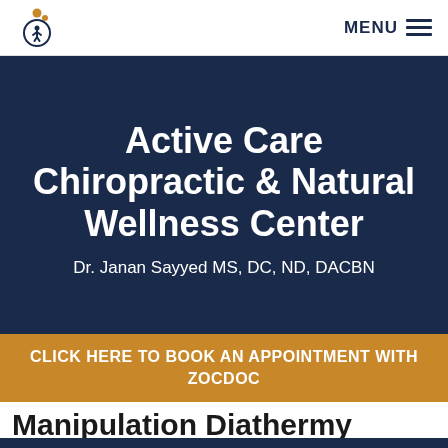MENU
Active Care Chiropractic & Natural Wellness Center
Dr. Janan Sayyed MS, DC, ND, DACBN
CLICK HERE TO BOOK AN APPOINTMENT WITH ZOCDOC
Manipulation Diathermy